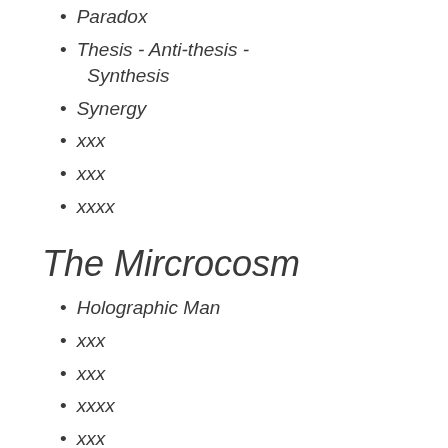Paradox
Thesis - Anti-thesis - Synthesis
Synergy
xxx
xxx
xxxx
The Mircrocosm
Holographic Man
xxx
xxx
xxxx
xxx
xxx
xxx
Reality